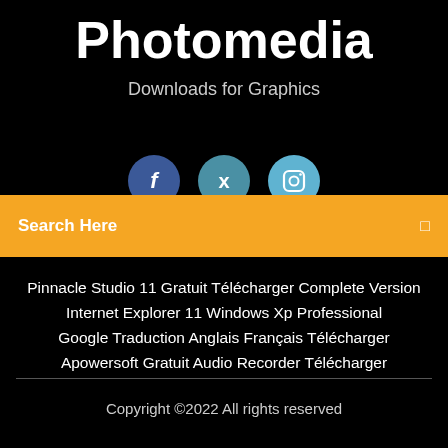Photomedia
Downloads for Graphics
[Figure (illustration): Three social media icons: Facebook (dark blue circle with 'f'), Twitter (teal circle with bird), Instagram (light blue circle with camera icon)]
Search Here
Pinnacle Studio 11 Gratuit Télécharger Complete Version
Internet Explorer 11 Windows Xp Professional
Google Traduction Anglais Français Télécharger
Apowersoft Gratuit Audio Recorder Télécharger
Copyright ©2022 All rights reserved